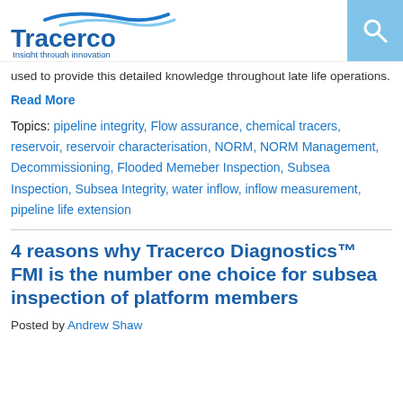Tracerco — Insight through innovation
used to provide this detailed knowledge throughout late life operations.
Read More
Topics: pipeline integrity, Flow assurance, chemical tracers, reservoir, reservoir characterisation, NORM, NORM Management, Decommissioning, Flooded Memeber Inspection, Subsea Inspection, Subsea Integrity, water inflow, inflow measurement, pipeline life extension
4 reasons why Tracerco Diagnostics™ FMI is the number one choice for subsea inspection of platform members
Posted by Andrew Shaw